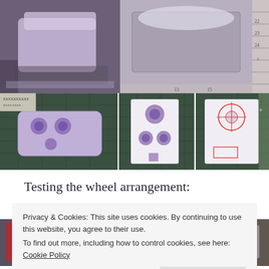[Figure (photo): Top row of two photos: left shows a purple/lavender foam or clay model piece being held, on a cutting mat; right shows a grey clay or foam block on a ruler/measuring mat.]
[Figure (photo): Middle row of three photos: left shows a purple lavender model vehicle body with circular impressions on a green cutting mat; center shows a flat white piece with purple circular stamps/impressions; right shows a white box-shaped model with red line markings on a green cutting mat.]
Testing the wheel arrangement:
[Figure (photo): Bottom partial row of two photos showing craft/model making work in progress, partially obscured by cookie banner.]
Privacy & Cookies: This site uses cookies. By continuing to use this website, you agree to their use.
To find out more, including how to control cookies, see here: Cookie Policy
Close and accept